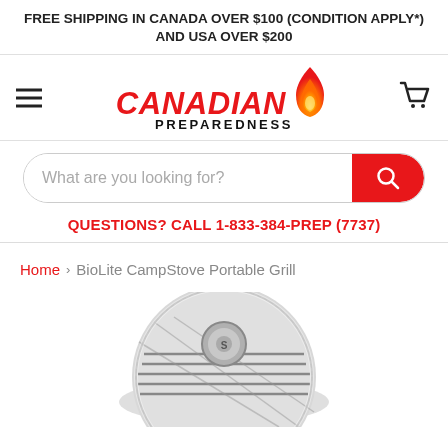FREE SHIPPING IN CANADA OVER $100 (CONDITION APPLY*) AND USA OVER $200
[Figure (logo): Canadian Preparedness logo with flame icon and hamburger menu, cart icon]
What are you looking for?
QUESTIONS? CALL 1-833-384-PREP (7737)
Home › BioLite CampStove Portable Grill
[Figure (photo): BioLite CampStove Portable Grill product image, stainless steel grill partially visible at bottom of page]